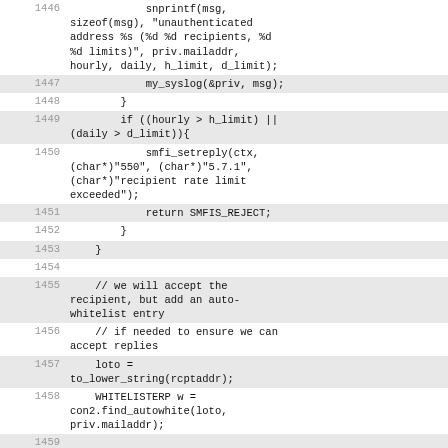Source code listing lines 1446-1460
1446:             snprintf(msg, sizeof(msg), "unauthenticated address %s (%d %d recipients, %d %d limits)", priv.mailaddr, hourly, daily, h_limit, d_limit);
1447:             my_syslog(&priv, msg);
1448:         }
1449:         if ((hourly > h_limit) || (daily > d_limit)){
1450:             smfi_setreply(ctx, (char*)"550", (char*)"5.7.1", (char*)"recipient rate limit exceeded");
1451:             return SMFIS_REJECT;
1452:         }
1453:     }
1454:
1455:     // we will accept the recipient, but add an auto-whitelist entry
1456:     // if needed to ensure we can accept replies
1457:     loto = to_lower_string(rcptaddr);
1458:     WHITELISTERP w = con2.find_autowhite(loto, priv.mailaddr);
1459:
1460:     // check if local part is too big